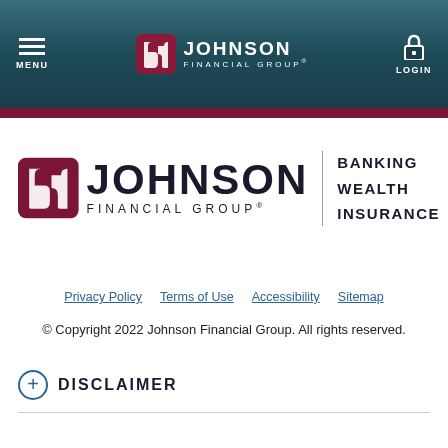MENU | Johnson Financial Group® | LOGIN
[Figure (logo): Johnson Financial Group logo with icon, JOHNSON FINANCIAL GROUP text, and BANKING WEALTH INSURANCE tagline]
Privacy Policy   Terms of Use   Accessibility   Sitemap
© Copyright 2022 Johnson Financial Group. All rights reserved.
+ DISCLAIMER